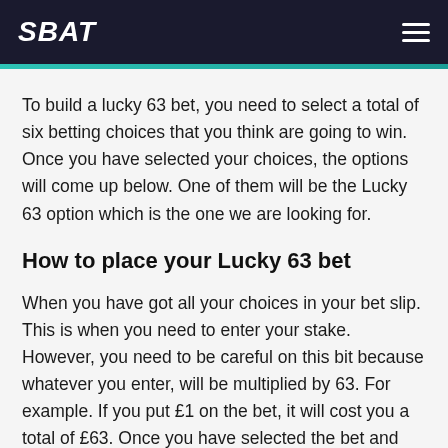SBAT
To build a lucky 63 bet, you need to select a total of six betting choices that you think are going to win. Once you have selected your choices, the options will come up below. One of them will be the Lucky 63 option which is the one we are looking for.
How to place your Lucky 63 bet
When you have got all your choices in your bet slip. This is when you need to enter your stake. However, you need to be careful on this bit because whatever you enter, will be multiplied by 63. For example. If you put £1 on the bet, it will cost you a total of £63. Once you have selected the bet and put in your desired stake, confirm the bet and it will be